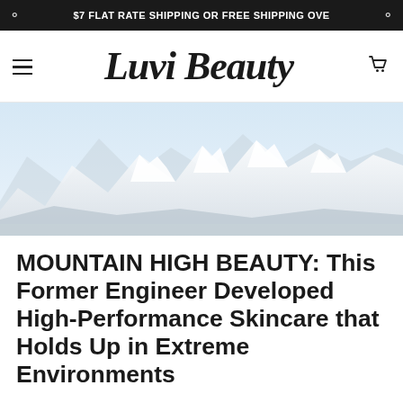$7 FLAT RATE SHIPPING OR FREE SHIPPING OVE
[Figure (logo): Luvi Beauty script logo in black italic serif font]
[Figure (photo): Snow-capped mountain range with light blue sky, misty and pale tones]
MOUNTAIN HIGH BEAUTY: This Former Engineer Developed High-Performance Skincare that Holds Up in Extreme Environments